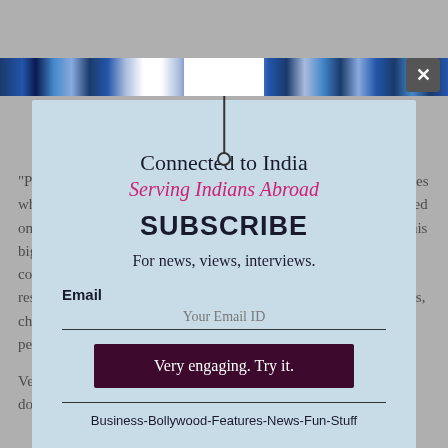"People held fundraisers, friends, colleagues and business associates who are affected on the ground. We put a plan in place that focussed on social media campaigns to engage agencies as we worked on this bigger global fundraiser – I Breathe For India. A number of our community members at TiE have volunteered funds, time or resources in what has become a war room driven by TiE volunteers, chapter presidents raising funds together in solidarity with the people in India," he added.
Veteran techpreneur and investor Vinod Khosla and his family donated USD 1 million while multinational investment bank
[Figure (screenshot): Newsletter subscription modal overlay on article page. Header: 'Connected to India / Serving Indians Abroad'. Large SUBSCRIBE heading. Fields for email. Button: 'Very engaging. Try it.' Footer: 'Business-Bollywood-Features-News-Fun-Stuff'. Blue decorative banner strip at top with white gap and connector line to modal. Close X button top right.]